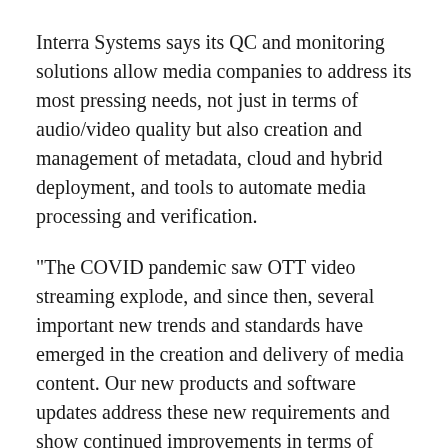Interra Systems says its QC and monitoring solutions allow media companies to address its most pressing needs, not just in terms of audio/video quality but also creation and management of metadata, cloud and hybrid deployment, and tools to automate media processing and verification.
"The COVID pandemic saw OTT video streaming explode, and since then, several important new trends and standards have emerged in the creation and delivery of media content. Our new products and software updates address these new requirements and show continued improvements in terms of better content quality and efficiency," said Anupama Anantharaman, vice president of product management at Interra Systems. "We are excited that the NAB show will take place in person again, and we